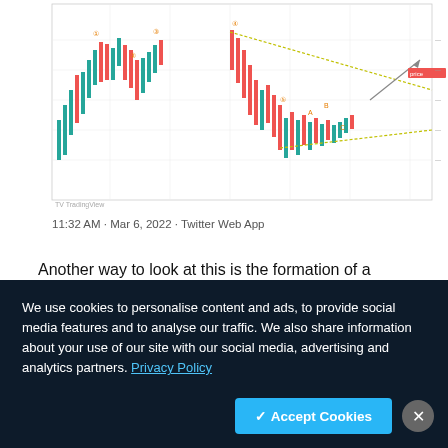[Figure (screenshot): TradingView candlestick chart showing price action with Elliott Wave labels and a bullish reversal triangle pattern marked with trend lines and numbered wave points]
11:32 AM · Mar 6, 2022 · Twitter Web App
Another way to look at this is the formation of a "Bullish reversal Triangle pattern". The pattern which historically represents a change of trend is characterized by the formation of Higher Lows (HL), signifying bulls outstripping bears. The resistance is thus expected to be taken out as
We use cookies to personalise content and ads, to provide social media features and to analyse our traffic. We also share information about your use of our site with our social media, advertising and analytics partners. Privacy Policy
✓ Accept Cookies